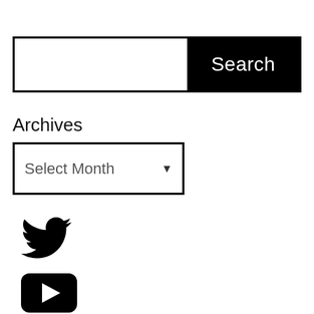[Figure (screenshot): Search bar with white input field on the left and black 'Search' button on the right, surrounded by a black border]
Archives
[Figure (screenshot): Dropdown select box with 'Select Month' placeholder text and a downward arrow indicator]
[Figure (logo): Twitter bird logo icon in black]
[Figure (logo): YouTube play button logo icon in black]
[Figure (logo): Chain link / hyperlink icon in black]